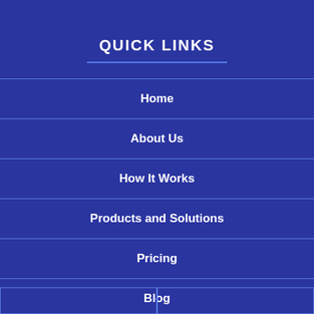QUICK LINKS
Home
About Us
How It Works
Products and Solutions
Pricing
Blog
Contact Us